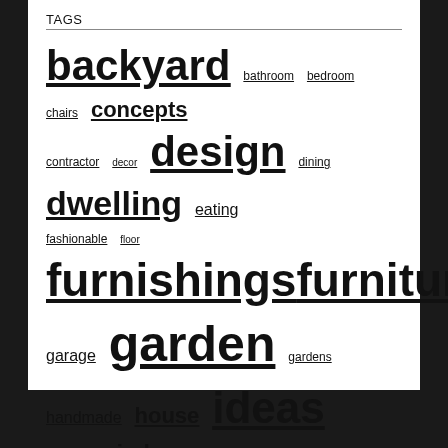TAGS
backyard bathroom bedroom chairs concepts contractor decor design dining dwelling eating fashionable floor furnishings furniture garage garden gardens handmade house ideas improvement indoor inspiration kitchen lavatory modern office online ornaments plants remodel remodeling renovation residence rework reworking small store tables transform transforming trendy warehouse workplace